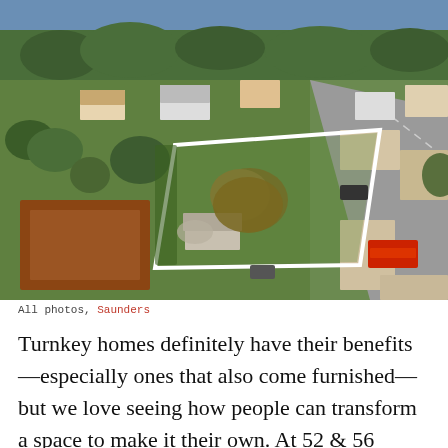[Figure (photo): Aerial drone photograph of two adjacent lots at 52 & 56 Pinetree Drive in Montauk, outlined with a white rectangle. Surrounding neighborhood with houses, green lawns, trees, and a road visible. Ocean/bay visible in the background.]
All photos, Saunders
Turnkey homes definitely have their benefits—especially ones that also come furnished—but we love seeing how people can transform a space to make it their own. At 52 & 56 Pinetree Drive in Montauk, two adjacent lots are for sale as a compound under listing agent Chris